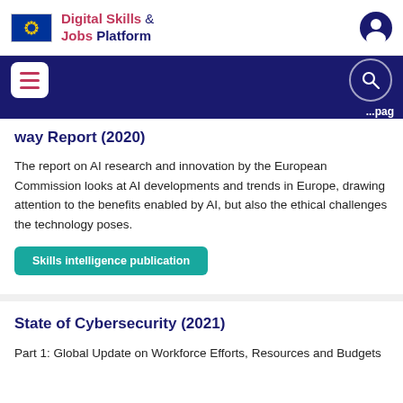Digital Skills & Jobs Platform
way Report (2020)
The report on AI research and innovation by the European Commission looks at AI developments and trends in Europe, drawing attention to the benefits enabled by AI, but also the ethical challenges the technology poses.
Skills intelligence publication
State of Cybersecurity (2021)
Part 1: Global Update on Workforce Efforts, Resources and Budgets